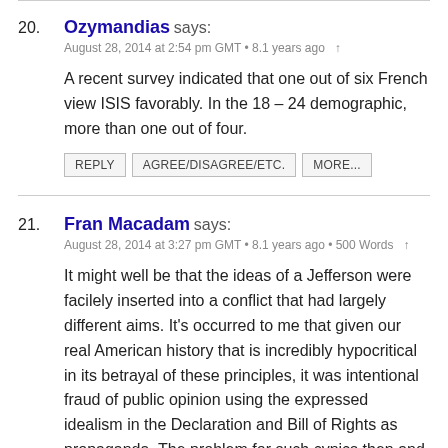20. Ozymandias says:
August 28, 2014 at 2:54 pm GMT • 8.1 years ago
A recent survey indicated that one out of six French view ISIS favorably. In the 18 – 24 demographic, more than one out of four.
21. Fran Macadam says:
August 28, 2014 at 3:27 pm GMT • 8.1 years ago • 500 Words
It might well be that the ideas of a Jefferson were facilely inserted into a conflict that had largely different aims. It's occurred to me that given our real American history that is incredibly hypocritical in its betrayal of these principles, it was intentional fraud of public opinion using the expressed idealism in the Declaration and Bill of Rights as propaganda. The problem for such cynics then and since, is that the people actually brainwashed to believe these ideals, like Edward